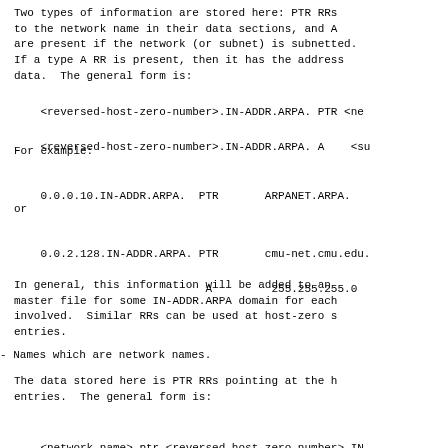Two types of information are stored here: PTR RRs pointing to the network name in their data sections, and A RRs are present if the network (or subnet) is subnetted. If a type A RR is present, then it has the address as data.  The general form is:
<reversed-host-zero-number>.IN-ADDR.ARPA. PTR <network-name>
<reversed-host-zero-number>.IN-ADDR.ARPA. A    <subnet-mask>
For example:
0.0.0.10.IN-ADDR.ARPA.  PTR       ARPANET.ARPA.
or
0.0.2.128.IN-ADDR.ARPA. PTR       cmu-net.cmu.edu.
                         A         255.255.255.0
In general, this information will be added to an appropriate master file for some IN-ADDR.ARPA domain for each network involved.  Similar RRs can be used at host-zero subnets entries.
- Names which are network names.
The data stored here is PTR RRs pointing at the host zero entries.  The general form is:
<network-name> ptr <reversed-host-zero-number>.IN-ADDR.ARPA.